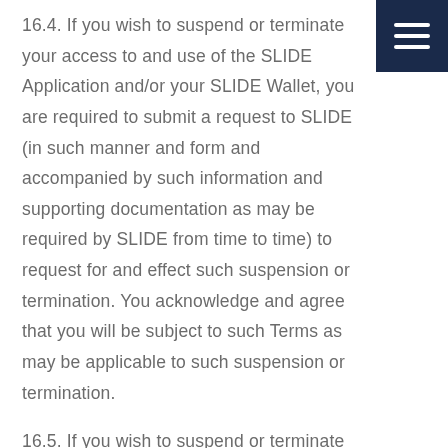16.4. If you wish to suspend or terminate your access to and use of the SLIDE Application and/or your SLIDE Wallet, you are required to submit a request to SLIDE (in such manner and form and accompanied by such information and supporting documentation as may be required by SLIDE from time to time) to request for and effect such suspension or termination. You acknowledge and agree that you will be subject to such Terms as may be applicable to such suspension or termination.
16.5. If you wish to suspend or terminate your access to and use of any SLIDE Service, you are required to submit a request to SLIDE and the relevant SLIDE Service Provider in such manner and form and accompanied by such information and supporting documentation as may be